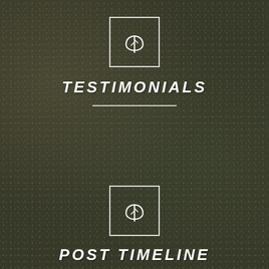[Figure (photo): Blurred aerial photo of a large crowd of people used as background]
[Figure (illustration): White square border icon with a leaf/plant symbol inside, above the word TESTIMONIALS]
TESTIMONIALS
[Figure (illustration): White square border icon with a leaf/plant symbol inside, above the words POST TIMELINE]
POST TIMELINE